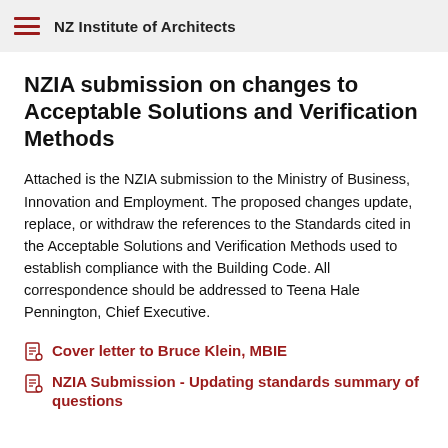NZ Institute of Architects
NZIA submission on changes to Acceptable Solutions and Verification Methods
Attached is the NZIA submission to the Ministry of Business, Innovation and Employment. The proposed changes update, replace, or withdraw the references to the Standards cited in the Acceptable Solutions and Verification Methods used to establish compliance with the Building Code. All correspondence should be addressed to Teena Hale Pennington, Chief Executive.
Cover letter to Bruce Klein, MBIE
NZIA Submission - Updating standards summary of questions